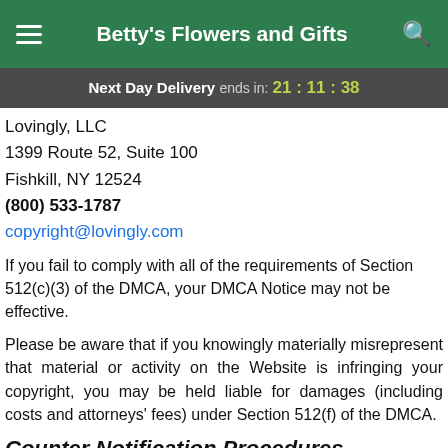Betty's Flowers and Gifts
Next Day Delivery ends in: 21:11:38
Lovingly, LLC
1399 Route 52, Suite 100
Fishkill, NY 12524
(800) 533-1787
copyright@lovingly.com
If you fail to comply with all of the requirements of Section 512(c)(3) of the DMCA, your DMCA Notice may not be effective.
Please be aware that if you knowingly materially misrepresent that material or activity on the Website is infringing your copyright, you may be held liable for damages (including costs and attorneys' fees) under Section 512(f) of the DMCA.
Counter Notification Procedures
If you believe that material you posted on the Sites was removed or access to it was disabled by mistake or misidentification, you may file a counter-notification with us (a "Counter-Notice") by